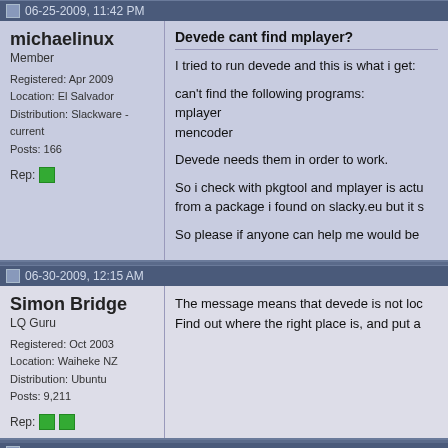06-25-2009, 11:42 PM
michaelinux
Member

Registered: Apr 2009
Location: El Salvador
Distribution: Slackware -current
Posts: 166

Rep:
Devede cant find mplayer?

I tried to run devede and this is what i get:

can't find the following programs:
mplayer
mencoder

Devede needs them in order to work.

So i check with pkgtool and mplayer is actu from a package i found on slacky.eu but it s

So please if anyone can help me would be
06-30-2009, 12:15 AM
Simon Bridge
LQ Guru

Registered: Oct 2003
Location: Waiheke NZ
Distribution: Ubuntu
Posts: 9,211

Rep:
The message means that devede is not loc Find out where the right place is, and put a
06-30-2009, 04:51 AM